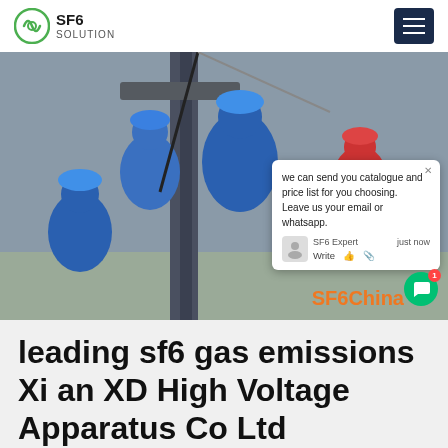SF6 SOLUTION
[Figure (photo): Workers in blue hard hats and uniforms working on high voltage electrical equipment outdoors. A live chat popup overlay is visible on the right side reading: 'we can send you catalogue and price list for you choosing. Leave us your email or whatsapp.' with SF6 Expert label and 'just now' timestamp. 'SF6China' watermark in orange at bottom right.]
leading sf6 gas emissions Xi an XD High Voltage Apparatus Co Ltd